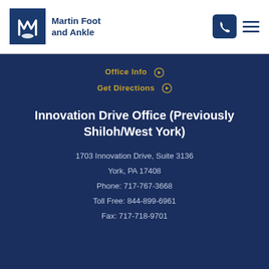Martin Foot and Ankle
Office Info
Get Directions
Innovation Drive Office (Previously Shiloh/West York)
1703 Innovation Drive, Suite 3136
York, PA 17408
Phone: 717-767-3668
Toll Free: 844-899-6961
Fax: 717-718-9701